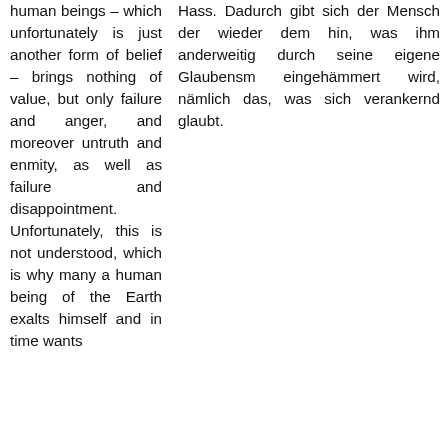human beings – which unfortunately is just another form of belief – brings nothing of value, but only failure and anger, and moreover untruth and enmity, as well as failure and disappointment. Unfortunately, this is not understood, which is why many a human being of the Earth exalts himself and in time wants
Hass. Dadurch gibt sich der Mensch der wieder dem hin, was ihm anderweitig durch seine eigene Glaubensr eingehämmert wird, nämlich das, was sich verankernd glaubt.